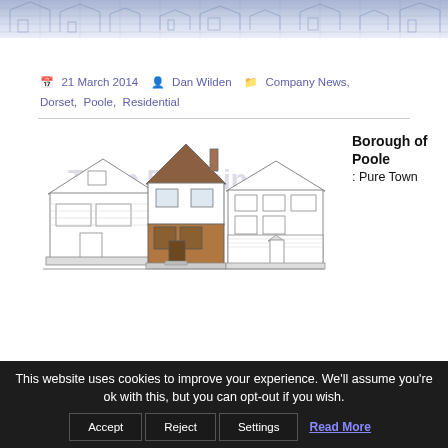[Figure (photo): Website header banner with blueprint/architectural drawing background in blue-grey tones]
📅 21 March 2014  👤 Dan Wilden  🗂 Company News, Dorset, Poole, Residential
[Figure (illustration): Architectural elevation drawing showing three house facades side by side; the middle one is rendered in brown/orange tones while the outer two are in white line drawing style]
Borough of Poole : Pure Town
This website uses cookies to improve your experience. We'll assume you're ok with this, but you can opt-out if you wish.
Accept | Reject | Settings | Read More